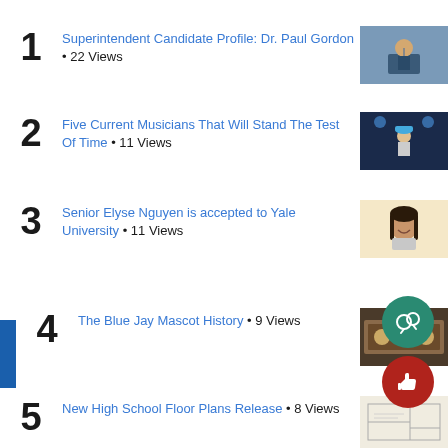Superintendent Candidate Profile: Dr. Paul Gordon • 22 Views
Five Current Musicians That Will Stand The Test Of Time • 11 Views
Senior Elyse Nguyen is accepted to Yale University • 11 Views
The Blue Jay Mascot History • 9 Views
New High School Floor Plans Release • 8 Views